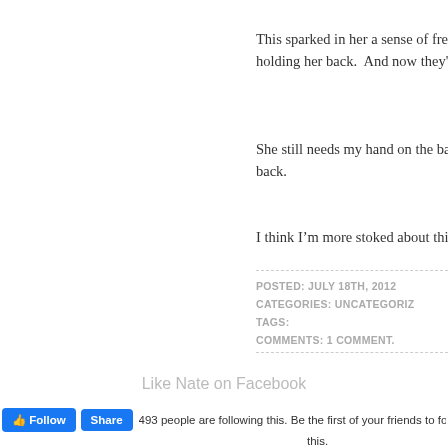This sparked in her a sense of freedom — holding her back.  And now they're of
She still needs my hand on the back o… back.
I think I'm more stoked about this tha
POSTED: JULY 18TH, 2012
CATEGORIES: UNCATEGORIZ
TAGS:
COMMENTS: 1 COMMENT.
Like Nate on Facebook
493 people are following this. Be the first of your friends to follow this.
Purchase Reform Follows Function on iTunes